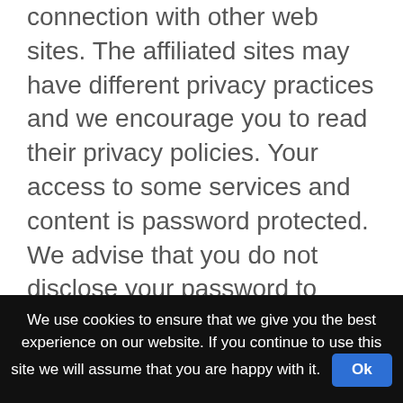connection with other web sites. The affiliated sites may have different privacy practices and we encourage you to read their privacy policies. Your access to some services and content is password protected. We advise that you do not disclose your password to anyone. In addition, we recommend you sign out of password-protected services at the end of your session. You should also be aware that if you voluntarily disclose Personally Identifiable Information on message boards or in chat areas, that information can be viewed publicly and can be collected and used by third parties without our knowledge and may result in unsolicited messages from other
We use cookies to ensure that we give you the best experience on our website. If you continue to use this site we will assume that you are happy with it. Ok